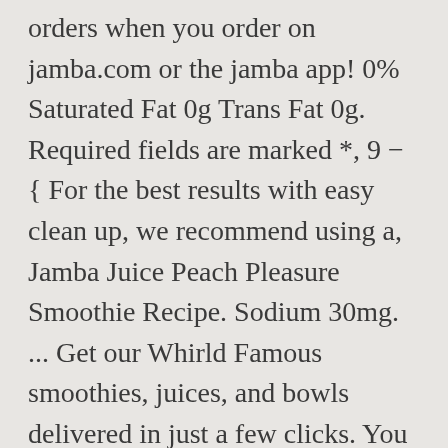orders when you order on jamba.com or the jamba app! 0% Saturated Fat 0g Trans Fat 0g. Required fields are marked *, 9 − one = .hide-if-no-js { For the best results with easy clean up, we recommend using a, Jamba Juice Peach Pleasure Smoothie Recipe. Sodium 30mg. ... Get our Whirld Famous smoothies, juices, and bowls delivered in just a few clicks. You may remember my Copycat Jamba Juice Strawberries Wild where it all began. Breakfast Sandwiches & Wraps. display: none !important; It was so yummy that I wanted to share it here with my Tried and Tasty readers as well! Jamba Juice Peach Perfection All Fruit Smoothie. This is the perfect smoothie, in my opinion. peach perfection ™ 310 cal. 1/2). 18%. ... Orange juice,